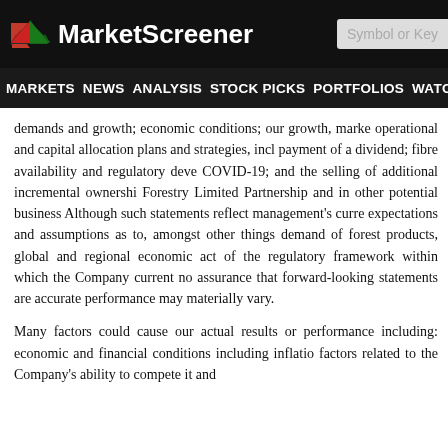MarketScreener
MARKETS NEWS ANALYSIS STOCK PICKS PORTFOLIOS WATCHLI
demands and growth; economic conditions; our growth, market operational and capital allocation plans and strategies, including payment of a dividend; fibre availability and regulatory developments; COVID-19; and the selling of additional incremental ownership in the Forestry Limited Partnership and in other potential business areas. Although such statements reflect management's current expectations and assumptions as to, amongst other things, the demand of forest products, global and regional economic activity, of the regulatory framework within which the Company currently operates, no assurance that forward-looking statements are accurate, and performance may materially vary.
Many factors could cause our actual results or performance to differ, including: economic and financial conditions including inflation; factors related to the Company's ability to compete it and